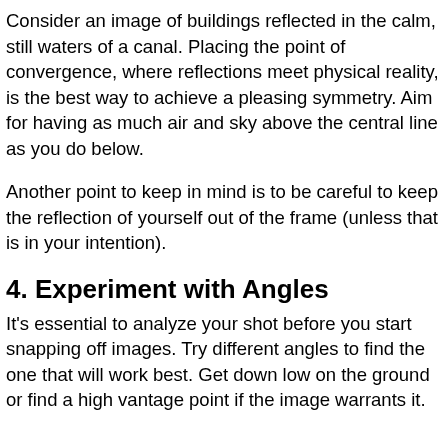Consider an image of buildings reflected in the calm, still waters of a canal. Placing the point of convergence, where reflections meet physical reality, is the best way to achieve a pleasing symmetry. Aim for having as much air and sky above the central line as you do below.
Another point to keep in mind is to be careful to keep the reflection of yourself out of the frame (unless that is in your intention).
4. Experiment with Angles
It's essential to analyze your shot before you start snapping off images. Try different angles to find the one that will work best. Get down low on the ground or find a high vantage point if the image warrants it.